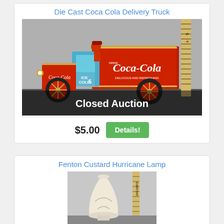Die Cast Coca Cola Delivery Truck
[Figure (photo): Photo of a die cast Coca Cola delivery truck toy with a driver figure, red body with Coca-Cola branding, and a ruler visible in the background. A 'Closed Auction' overlay text appears at the bottom of the image.]
$5.00
Details!
Fenton Custard Hurricane Lamp
[Figure (photo): Photo of a Fenton custard glass hurricane lamp, cream/ivory colored with a decorative base, with a ruler visible in the background.]